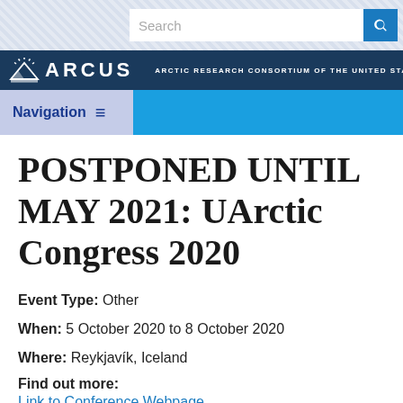[Figure (screenshot): Search bar with text input and blue search button icon]
[Figure (logo): ARCUS logo — Arctic Research Consortium of the United States — dark blue header bar with mountain/sun icon and white lettering]
[Figure (screenshot): Navigation bar with lavender 'Navigation ≡' on left and bright blue panel on right]
POSTPONED UNTIL MAY 2021: UArctic Congress 2020
Event Type: Other
When: 5 October 2020 to 8 October 2020
Where: Reykjavík, Iceland
Find out more:
Link to Conference Webpage